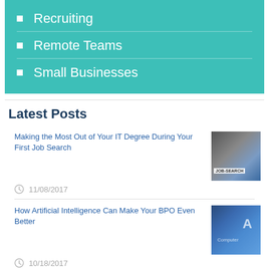Recruiting
Remote Teams
Small Businesses
Latest Posts
Making the Most Out of Your IT Degree During Your First Job Search
11/08/2017
How Artificial Intelligence Can Make Your BPO Even Better
10/18/2017
How to Pick the Right IT Career for Your Happiness